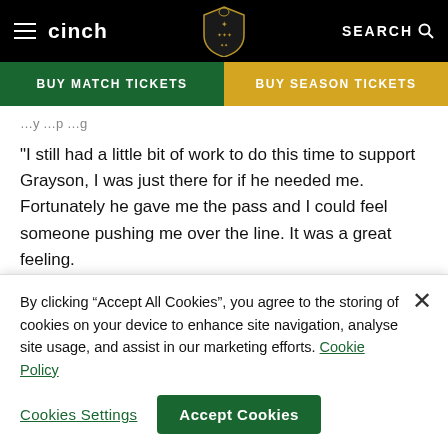cinch | BUY MATCH TICKETS | BUY SEASON TICKETS
"I still had a little bit of work to do this time to support Grayson, I was just there for if he needed me. Fortunately he gave me the pass and I could feel someone pushing me over the line. It was a great feeling.
Looking ahead to the challenge of Pool 2 leaders Harlequins, who have yet to drop a league point in the competition, Tuitavake said the focus was on putting right the wrongs of
By clicking “Accept All Cookies”, you agree to the storing of cookies on your device to enhance site navigation, analyse site usage, and assist in our marketing efforts. Cookie Policy
Cookies Settings | Accept Cookies